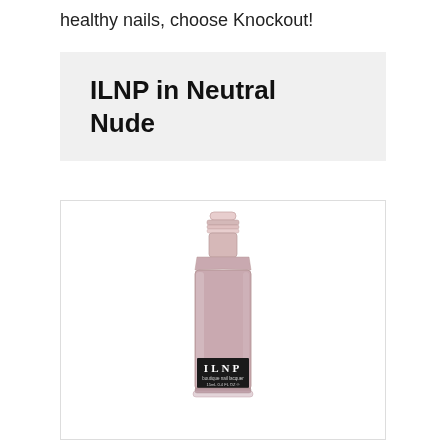healthy nails, choose Knockout!
ILNP in Neutral Nude
[Figure (photo): A bottle of ILNP boutique nail lacquer in a neutral nude/dusty pink color. The square bottle has a clear base showing the pink polish, with a dark label reading 'ILNP boutique nail lacquer 15mL 0.4 FL OZ'. The cap is removed, showing the brush applicator neck.]